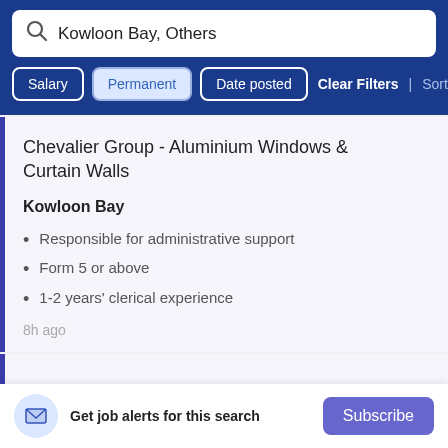Kowloon Bay, Others
Salary | Permanent | Date posted | Clear Filters | Sort By Rel
Chevalier Group - Aluminium Windows & Curtain Walls
Kowloon Bay
Responsible for administrative support
Form 5 or above
1-2 years' clerical experience
8h ago
Get job alerts for this search
Subscribe